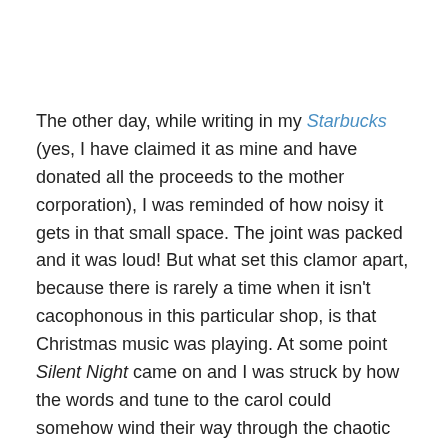The other day, while writing in my Starbucks (yes, I have claimed it as mine and have donated all the proceeds to the mother corporation), I was reminded of how noisy it gets in that small space. The joint was packed and it was loud! But what set this clamor apart, because there is rarely a time when it isn't cacophonous in this particular shop, is that Christmas music was playing. At some point Silent Night came on and I was struck by how the words and tune to the carol could somehow wind their way through the chaotic din of such a highly populated place and find residence in my hearing – but it did.